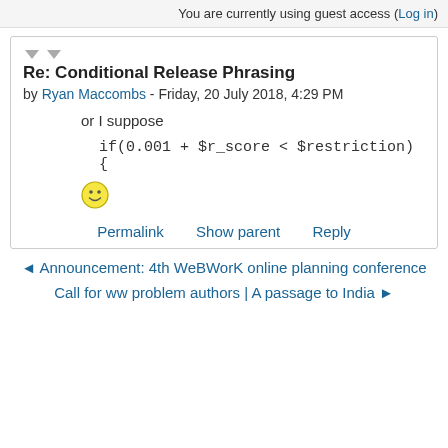You are currently using guest access (Log in)
Re: Conditional Release Phrasing
by Ryan Maccombs - Friday, 20 July 2018, 4:29 PM
or I suppose
if(0.001 + $r_score < $restriction) {
[Figure (illustration): Smiley face emoji]
Permalink   Show parent   Reply
◄ Announcement: 4th WeBWorK online planning conference
Call for ww problem authors | A passage to India ►